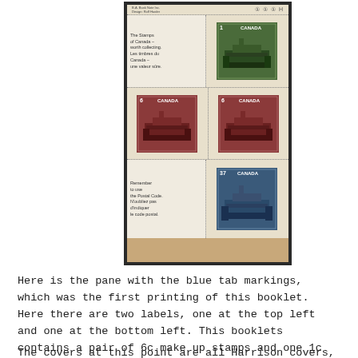[Figure (photo): A Canadian stamp booklet pane showing blue tab markings. The pane contains: top-left label cell with text 'The Stamps of Canada – worth collecting. Les timbres du Canada – une valeur sûre.' and a 1-cent green Canada Parliament stamp top-right; two 6-cent red Canada Parliament stamps in the middle row; bottom-left label with 'Remember to use the Postal Code. N'oubliez pas d'indiquer le code postal.' and a 37-cent blue Canada Parliament stamp bottom-right. Top bar shows 'B.A. Bank Note Inc. Design: Rolf Harder' and circle-1 circle-1 circle-1 H markings.]
Here is the pane with the blue tab markings, which was the first printing of this booklet. Here there are two labels, one at the top left and one at the bottom left. This booklets contains a pair of 6c make up stamps and one 1c stamp.
The covers at this point are all Harrison covers, so all have an